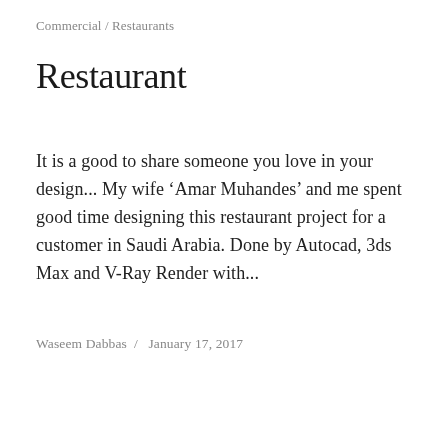Commercial / Restaurants
Restaurant
It is a good to share someone you love in your design... My wife ‘Amar Muhandes’ and me spent good time designing this restaurant project for a customer in Saudi Arabia. Done by Autocad, 3ds Max and V-Ray Render with...
Waseem Dabbas /  January 17, 2017